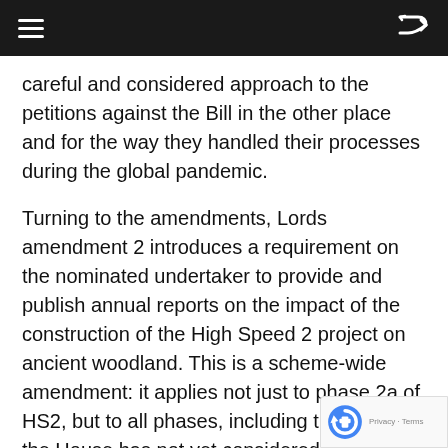navigation bar with hamburger menu and shuffle icon
careful and considered approach to the petitions against the Bill in the other place and for the way they handled their processes during the global pandemic.
Turning to the amendments, Lords amendment 2 introduces a requirement on the nominated undertaker to provide and publish annual reports on the impact of the construction of the High Speed 2 project on ancient woodland. This is a scheme-wide amendment: it applies not just to phase 2a of HS2, but to all phases, including those that the House has not yet considered. The requirement in this amendment to report is about ancient woodland, but I have also committed to wider environmental reporting on the impacts of HS2. I look forward to the first of those